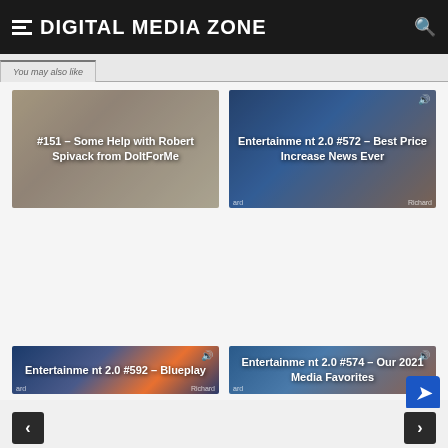Digital Media Zone
You may also like
[Figure (photo): Thumbnail: #151 – Some Help with Robert Spivack from DoItForMe]
[Figure (photo): Thumbnail: Entertainment 2.0 #572 – Best Price Increase News Ever]
[Figure (photo): Thumbnail: Entertainment 2.0 #592 – Blueplay]
[Figure (photo): Thumbnail: Entertainment 2.0 #574 – Our 2021 Media Favorites]